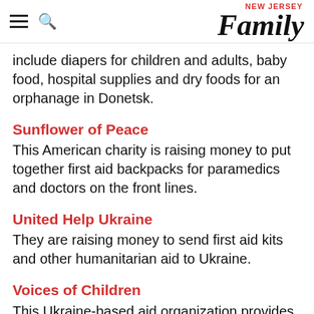NEW JERSEY Family
include diapers for children and adults, baby food, hospital supplies and dry foods for an orphanage in Donetsk.
Sunflower of Peace
This American charity is raising money to put together first aid backpacks for paramedics and doctors on the front lines.
United Help Ukraine
They are raising money to send first aid kits and other humanitarian aid to Ukraine.
Voices of Children
This Ukraine-based aid organization provides psychological support to children who have witnessed war through art therapy and storytelling.